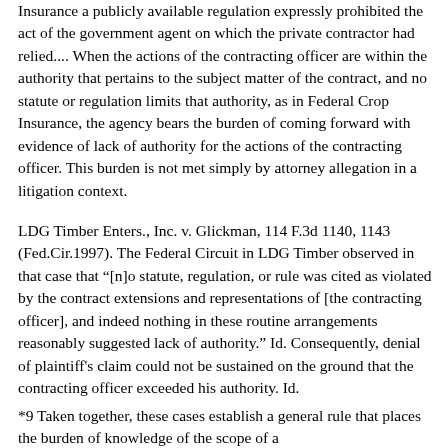Insurance a publicly available regulation expressly prohibited the act of the government agent on which the private contractor had relied.... When the actions of the contracting officer are within the authority that pertains to the subject matter of the contract, and no statute or regulation limits that authority, as in Federal Crop Insurance, the agency bears the burden of coming forward with evidence of lack of authority for the actions of the contracting officer. This burden is not met simply by attorney allegation in a litigation context.
LDG Timber Enters., Inc. v. Glickman, 114 F.3d 1140, 1143 (Fed.Cir.1997). The Federal Circuit in LDG Timber observed in that case that "[n]o statute, regulation, or rule was cited as violated by the contract extensions and representations of [the contracting officer], and indeed nothing in these routine arrangements reasonably suggested lack of authority." Id. Consequently, denial of plaintiff's claim could not be sustained on the ground that the contracting officer exceeded his authority. Id.
*9 Taken together, these cases establish a general rule that places the burden of knowledge of the scope of a